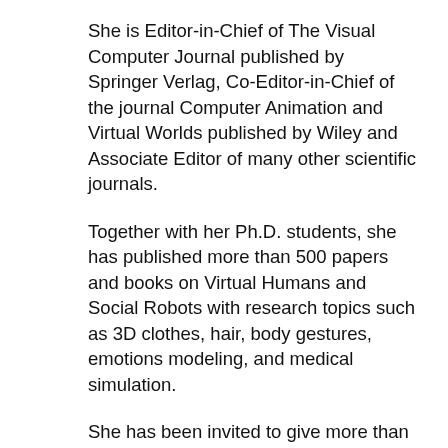She is Editor-in-Chief of The Visual Computer Journal published by Springer Verlag, Co-Editor-in-Chief of the journal Computer Animation and Virtual Worlds published by Wiley and Associate Editor of many other scientific journals.
Together with her Ph.D. students, she has published more than 500 papers and books on Virtual Humans and Social Robots with research topics such as 3D clothes, hair, body gestures, emotions modeling, and medical simulation.
She has been invited to give more than 300 keynote lectures in various institutions and organisations, among them the World Economic Forum in Davos. She was Vice-Rector at the University of Geneva from 2003-2006